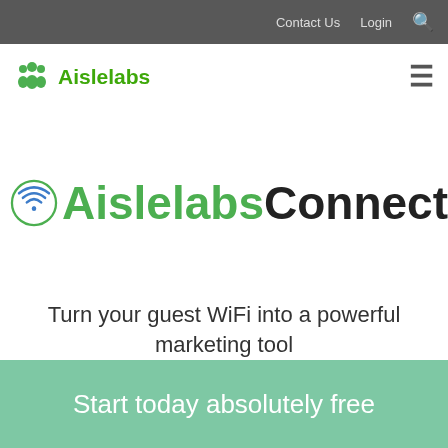Contact Us   Login   🔍
[Figure (logo): Aislelabs logo with green people icon and text]
[Figure (logo): AislelabsConnect product logo with WiFi circle icon and text]
Turn your guest WiFi into a powerful marketing tool
Start today absolutely free